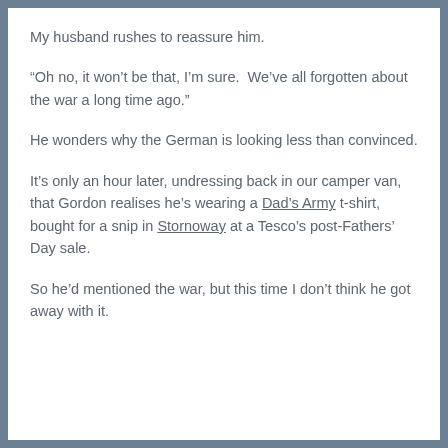My husband rushes to reassure him.
“Oh no, it won’t be that, I’m sure.  We’ve all forgotten about the war a long time ago.”
He wonders why the German is looking less than convinced.
It’s only an hour later, undressing back in our camper van, that Gordon realises he’s wearing a Dad’s Army t-shirt, bought for a snip in Stornoway at a Tesco’s post-Fathers’ Day sale.
So he’d mentioned the war, but this time I don’t think he got away with it.